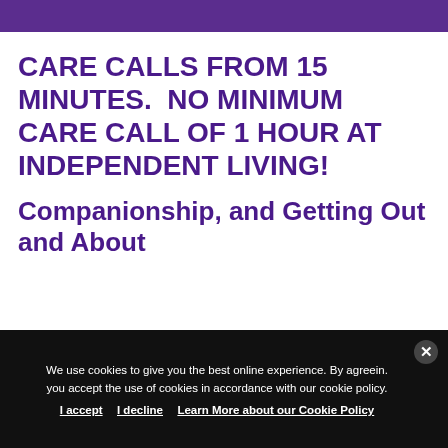CARE CALLS FROM 15 MINUTES.  NO MINIMUM CARE CALL OF 1 HOUR AT INDEPENDENT LIVING!
Companionship, and Getting Out and About
We use cookies to give you the best online experience. By agreeing you accept the use of cookies in accordance with our cookie policy.
I accept   I decline   Learn More about our Cookie Policy